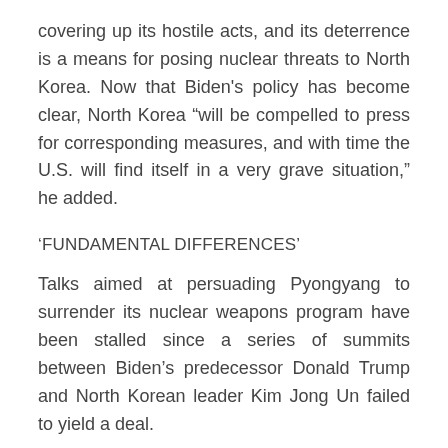covering up its hostile acts, and its deterrence is a means for posing nuclear threats to North Korea. Now that Biden's policy has become clear, North Korea “will be compelled to press for corresponding measures, and with time the U.S. will find itself in a very grave situation,” he added.
‘FUNDAMENTAL DIFFERENCES’
Talks aimed at persuading Pyongyang to surrender its nuclear weapons program have been stalled since a series of summits between Biden’s predecessor Donald Trump and North Korean leader Kim Jong Un failed to yield a deal.
The North Korean statements appear to echo comments by the ministry in March saying